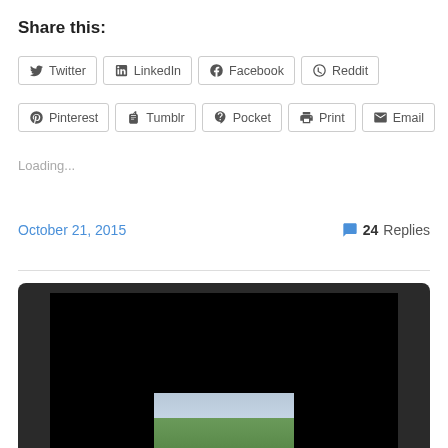Share this:
Twitter | LinkedIn | Facebook | Reddit
Pinterest | Tumblr | Pocket | Print | Email
Loading...
October 21, 2015    💬 24 Replies
[Figure (screenshot): Laptop screen showing a landscape photograph with green hills and sky]